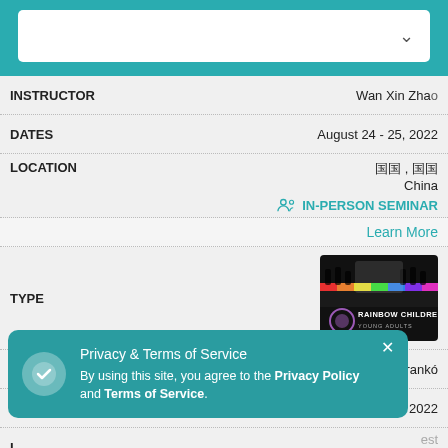[Figure (screenshot): Dropdown selector bar with chevron arrow at top of page]
| Field | Value |
| --- | --- |
| INSTRUCTOR | Wan Xin Zhao |
| DATES | August 24 - 25, 2022 |
| LOCATION | 中国, 中国 / China |
| TYPE | Rainbow Children Young Adults |
| INSTRUCTOR | Éva Frankó |
| DATES | August 24 - 27, 2022 |
IN-PERSON SEMINAR
Learn More
Privacy & Terms of Service
By using this site, you agree to the Privacy Policy and Terms of Service.